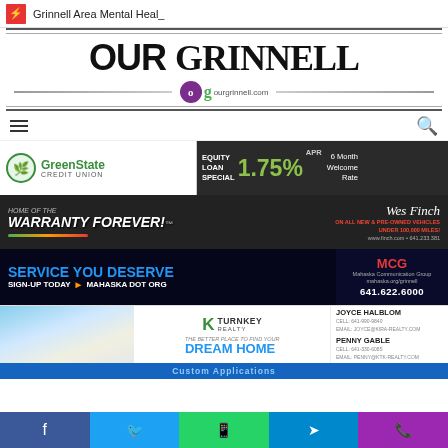Grinnell Area Mental Heal_
[Figure (logo): OUR GRINNELL newspaper logo with ourgrinnell.com URL]
[Figure (other): Navigation bar with hamburger menu and search icon]
[Figure (other): GreenState Credit Union ad — Equity Loan Special 1.75% APR 6 Month Welcome Rate]
[Figure (other): Warranty Forever ad — Wes Finch — On All New & Pre-Owned Vehicles Under 100,000 Miles]
[Figure (other): MCG Mahaska Communication Group — SERVICE YOU DESERVE SIGN-UP TODAY MAHASKA DOT ORG 641.622.6000]
[Figure (other): TurnKey Realty — The Better Place to Find Your Dream Home — Joyce Halblom and Penny Gable agents]
Custom Applications
[Figure (other): Social share bar with Facebook, Twitter, WhatsApp, Telegram, and Phone icons]